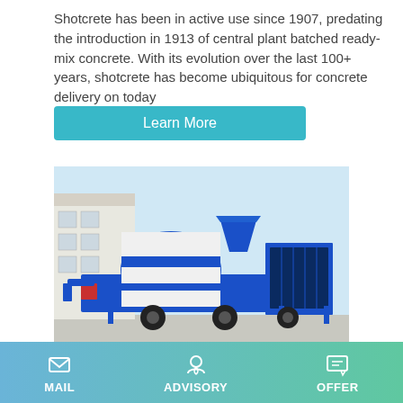Shotcrete has been in active use since 1907, predating the introduction in 1913 of central plant batched ready-mix concrete. With its evolution over the last 100+ years, shotcrete has become ubiquitous for concrete delivery on today
Learn More
[Figure (photo): A blue and white concrete pumping machine on a trailer, parked on a concrete surface in front of a building under a clear blue sky.]
Concrete Pumping | PPT Inc.
All Pump operators are certified by the American Concrete
MAIL   ADVISORY   OFFER